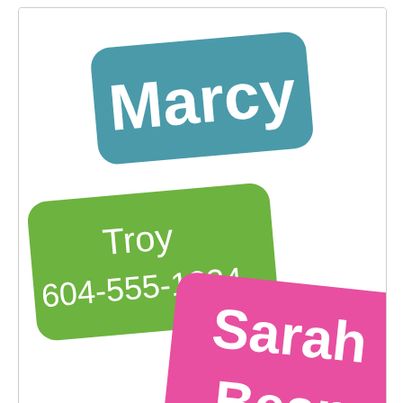[Figure (illustration): Three colorful name labels/stickers overlapping: a teal rounded rectangle with 'Marcy' in white bold text, a green rounded rectangle with 'Troy 604-555-1234' in white text, and a pink rounded rectangle with 'Sarah Bean' in white bold text.]
[Figure (infographic): Row of color swatches: red, blue, purple, cyan, gray, and a pink gradient swatch, followed by '+16 MORE' text in bold.]
Share:
$19.95